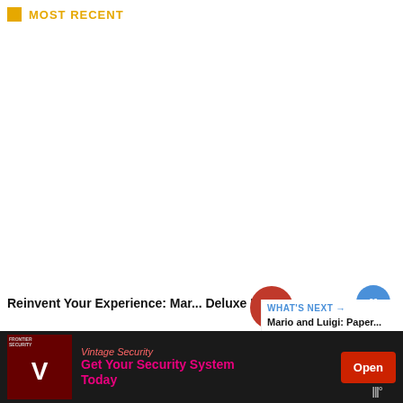MOST RECENT
[Figure (screenshot): Large white content area showing a gaming website with a video or image placeholder]
Reinvent Your Experience: Mar... Deluxe DLC
WHAT'S NEXT → Mario and Luigi: Paper...
1
[Figure (screenshot): Blue circular heart/like button, number 1 like count, pink up-arrow scroll button, blue dot]
[Figure (infographic): Advertisement banner: Vintage Security - Get Your Security System Today - Open button]
Vintage Security
Get Your Security System Today